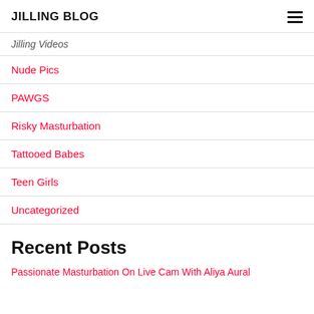JILLING BLOG
Jilling Videos
Nude Pics
PAWGS
Risky Masturbation
Tattooed Babes
Teen Girls
Uncategorized
Recent Posts
Passionate Masturbation On Live Cam With Aliya Aural